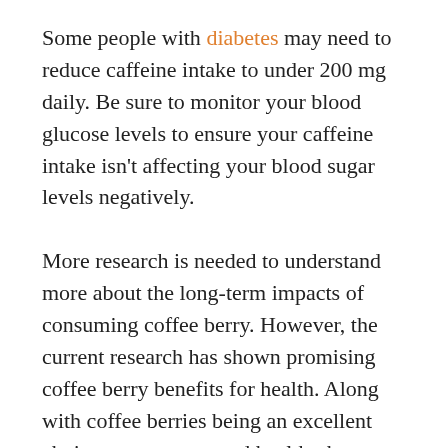Some people with diabetes may need to reduce caffeine intake to under 200 mg daily. Be sure to monitor your blood glucose levels to ensure your caffeine intake isn't affecting your blood sugar levels negatively.
More research is needed to understand more about the long-term impacts of consuming coffee berry. However, the current research has shown promising coffee berry benefits for health. Along with coffee berries being an excellent choice to promote good health, they are also sustainable and reduce food waste.
As always, be sure to communicate with your